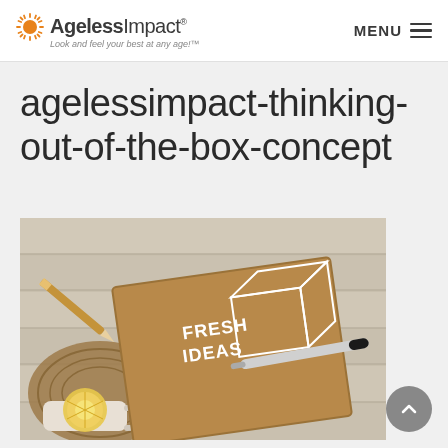AgelessImpact - Look and feel your best at any age!™ | MENU
agelessimpact-thinking-out-of-the-box-concept
[Figure (photo): A brown kraft paper notebook with a white 3D box outline drawing and 'FRESH IDEAS' text, laid on a wooden surface alongside a pen, a wooden spoon, a woven placemat, and a cup of tea with a lemon slice.]